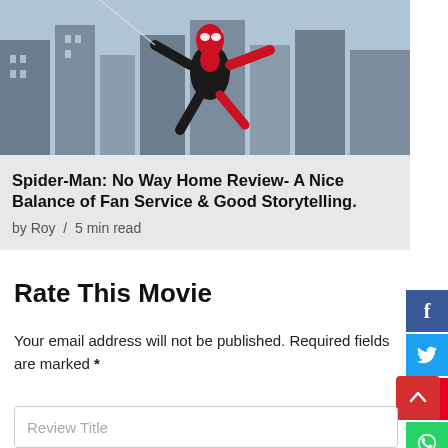[Figure (photo): Spider-Man character in black and red suit swinging over a city skyline with tall buildings in the background]
Spider-Man: No Way Home Review- A Nice Balance of Fan Service & Good Storytelling.
by Roy  /  5 min read
Rate This Movie
Your email address will not be published. Required fields are marked *
Review Title